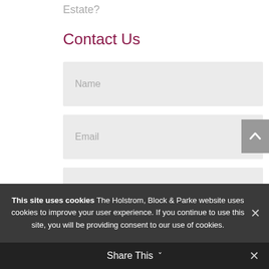Estate?
Contact Us
Name
Email
Phone
This site uses cookies The Holstrom, Block & Parke website uses cookies to improve your user experience. If you continue to use this site, you will be providing consent to our use of cookies.
Share This ∨ ✕